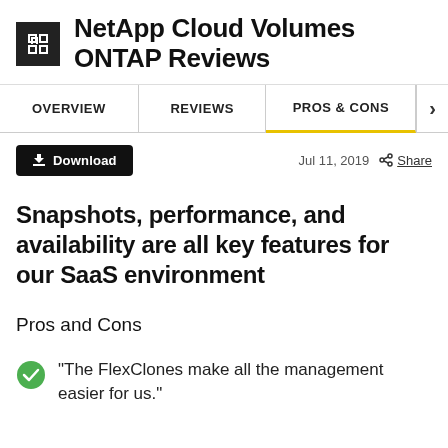NetApp Cloud Volumes ONTAP Reviews
OVERVIEW | REVIEWS | PROS & CONS
Download  Jul 11, 2019  Share
Snapshots, performance, and availability are all key features for our SaaS environment
Pros and Cons
"The FlexClones make all the management easier for us."